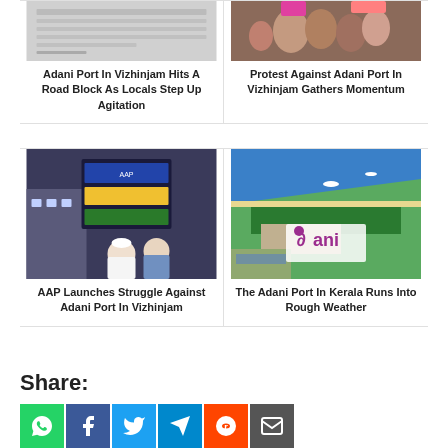[Figure (photo): Newspaper article thumbnail about Adani Port Vizhinjam road block]
Adani Port In Vizhinjam Hits A Road Block As Locals Step Up Agitation
[Figure (photo): Photo of people protesting against Adani Port in Vizhinjam]
Protest Against Adani Port In Vizhinjam Gathers Momentum
[Figure (photo): Photo of AAP members at a protest against Adani Port in Vizhinjam with Malayalam signage]
AAP Launches Struggle Against Adani Port In Vizhinjam
[Figure (photo): Aerial view of Adani Port in Kerala with Adani logo overlay]
The Adani Port In Kerala Runs Into Rough Weather
Share:
[Figure (infographic): Social share buttons: WhatsApp, Facebook, Twitter, Telegram, Reddit, Email]